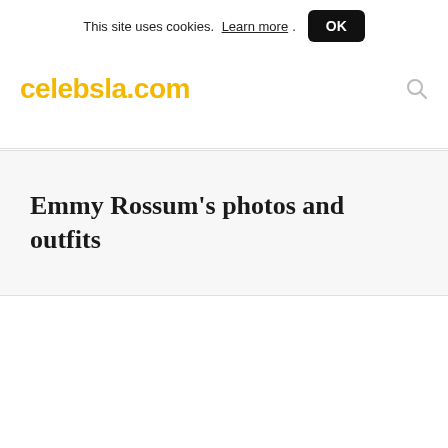This site uses cookies. Learn more. OK
celebsla.com
Emmy Rossum's photos and outfits